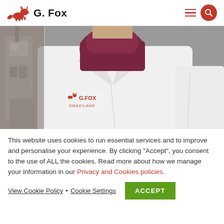G. Fox
[Figure (photo): Person wearing a white lab coat with G.FOX SWAZILAND logo, wearing a dark maroon turtleneck sweater, standing near industrial machinery]
This website uses cookies to run essential services and to improve and personalise your experience. By clicking "Accept", you consent to the use of ALL the cookies. Read more about how we manage your information in our Privacy and Cookies policies.
View Cookie Policy • Cookie Settings  ACCEPT